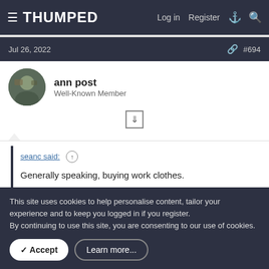THUMPED — Log in | Register
Jul 26, 2022  #694
ann post
Well-Known Member
seanc said: ↑

Generally speaking, buying work clothes.

I just bought some work trousers. There's a super-duper diagram on the bag saying how great it is. It has "ergonomic combat pockets".
This site uses cookies to help personalise content, tailor your experience and to keep you logged in if you register.
By continuing to use this site, you are consenting to our use of cookies.